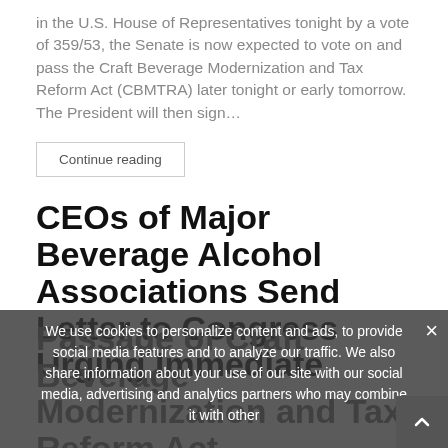in the U.S. House of Representatives tonight by a vote of 359/53, the Senate is now expected to vote on and pass the Craft Beverage Modernization and Tax Reform Act (CBMTRA) later tonight or early tomorrow. The President will then sign…
Continue reading
CEOs of Major Beverage Alcohol Associations Send Letter to Congress Urging Immediate Passage of Craft Beverage Modernization and Tax Reform Act
We use cookies to personalize content and ads, to provide social media features and to analyze our traffic. We also share information about your use of our site with our social media, advertising and analytics partners who may combine it with other